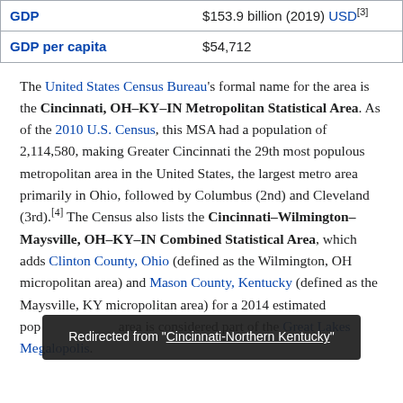|  |  |
| --- | --- |
| GDP | $153.9 billion (2019) USD[3] |
| GDP per capita | $54,712 |
The United States Census Bureau's formal name for the area is the Cincinnati, OH–KY–IN Metropolitan Statistical Area. As of the 2010 U.S. Census, this MSA had a population of 2,114,580, making Greater Cincinnati the 29th most populous metropolitan area in the United States, the largest metro area primarily in Ohio, followed by Columbus (2nd) and Cleveland (3rd).[4] The Census also lists the Cincinnati–Wilmington–Maysville, OH–KY–IN Combined Statistical Area, which adds Clinton County, Ohio (defined as the Wilmington, OH micropolitan area) and Mason County, Kentucky (defined as the Maysville, KY micropolitan area) for a 2014 estimated population… area is considered part of the Great Lakes Megalopolis.
Redirected from "Cincinnati-Northern Kentucky"